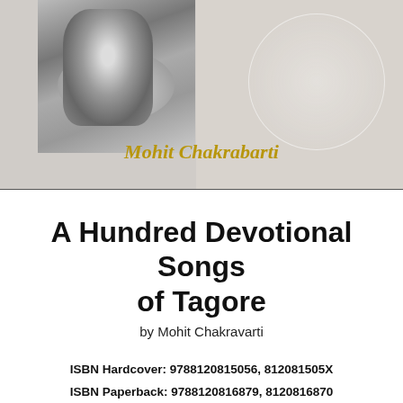[Figure (photo): Book cover image showing a black and white portrait photograph of a bearded man (Tagore) on the left, with decorative lace-like pattern on the right background. Author name 'Mohit Chakrabarti' appears in gold italic text at the bottom of the cover image.]
A Hundred Devotional Songs of Tagore
by Mohit Chakravarti
ISBN Hardcover: 9788120815056, 812081505X
ISBN Paperback: 9788120816879, 8120816870
Year of Publication: 1999
Edition: 1st